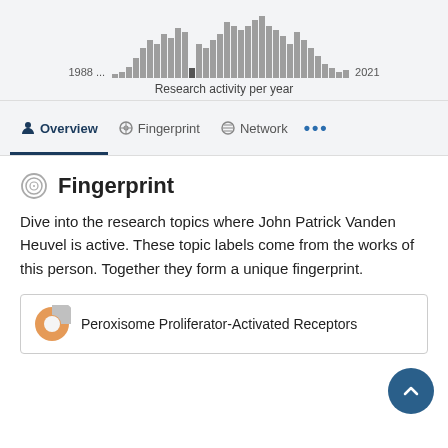[Figure (histogram): Research activity per year]
Research activity per year
Overview
Fingerprint
Network
Fingerprint
Dive into the research topics where John Patrick Vanden Heuvel is active. These topic labels come from the works of this person. Together they form a unique fingerprint.
Peroxisome Proliferator-Activated Receptors